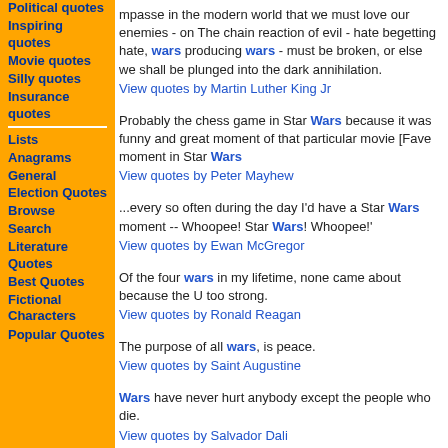Political quotes
Inspiring quotes
Movie quotes
Silly quotes
Insurance quotes
Lists
Anagrams
General Election Quotes
Browse
Search
Literature Quotes
Best Quotes
Fictional Characters
Popular Quotes
mpasse in the modern world that we must love our enemies - on The chain reaction of evil - hate begetting hate, wars producing wars - must be broken, or else we shall be plunged into the dark annihilation.
View quotes by Martin Luther King Jr
Probably the chess game in Star Wars because it was funny and great moment of that particular movie [Fave moment in Star Wars
View quotes by Peter Mayhew
...every so often during the day I'd have a Star Wars moment -- Whoopee! Star Wars! Whoopee!'
View quotes by Ewan McGregor
Of the four wars in my lifetime, none came about because the U too strong.
View quotes by Ronald Reagan
The purpose of all wars, is peace.
View quotes by Saint Augustine
Wars have never hurt anybody except the people who die.
View quotes by Salvador Dali